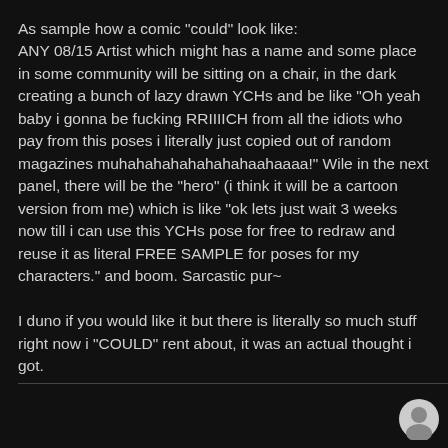As sample how a comic "could" look like: ANY 08/15 Artist which might has a name and some place in some community will be sitting on a chair, in the dark creating a bunch of lazy drawn YCHs and be like "Oh yeah baby i gonna be fucking RRIIIICH from all the idiots who pay from this poses i literally just copied out of random magazines muhahahahahahahahaahaaaa!" Wile in the next panel, there will be the "hero" (i think it will be a cartoon version from me) which is like "ok lets just wait 3 weeks from now till i can use this YCHs pose for free to redraw and reuse it as literal FREE SAMPLE for poses for my characters." and boom. Sarcastic pur~

I duno if you would like it but there is literally so much stuff right now i "COULD" rent about, it was an actual thought i got.